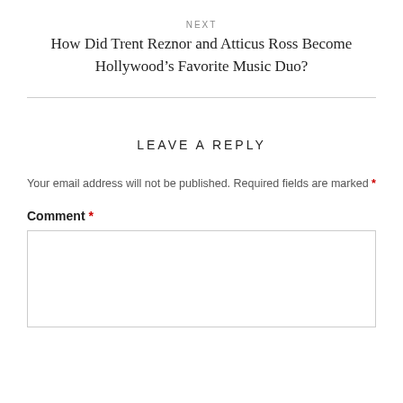NEXT
How Did Trent Reznor and Atticus Ross Become Hollywood’s Favorite Music Duo?
LEAVE A REPLY
Your email address will not be published. Required fields are marked *
Comment *